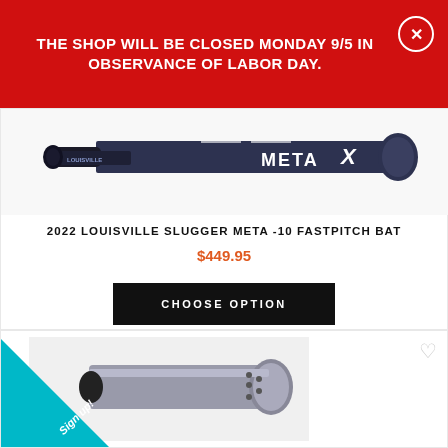THE SHOP WILL BE CLOSED MONDAY 9/5 IN OBSERVANCE OF LABOR DAY.
[Figure (photo): Louisville Slugger Meta X fastpitch softball bat, dark navy/gray, diagonal view showing barrel and handle with brand marking]
2022 LOUISVILLE SLUGGER META -10 FASTPITCH BAT
$449.95
CHOOSE OPTION
[Figure (photo): Second baseball/softball bat product, silver/chrome colored, barrel end visible in card]